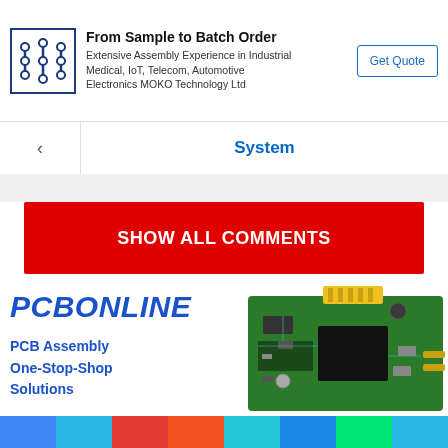[Figure (other): MOKO Technology advertisement banner with logo, text 'From Sample to Batch Order', description about assembly experience, and Get Quote button]
System
SHOW ALL COMMENTS
[Figure (other): PCBOnline advertisement showing logo, PCB Assembly One-Stop-Shop Solutions text, and image of a green PCB circuit board]
[Figure (other): Bottom color bar with blue, light blue, red, orange, cyan, blue, green, light blue segments]